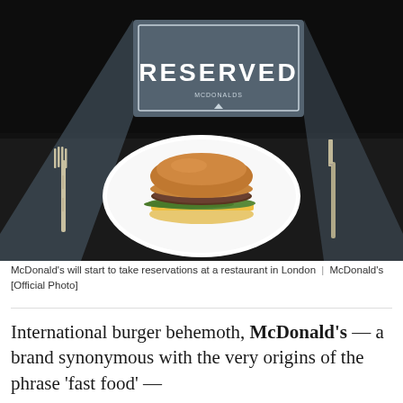[Figure (photo): A McDonald's burger on a white plate set on a dark table with a fork on the left and a knife on the right. A grey 'RESERVED' table card sign is visible in the background.]
McDonald's will start to take reservations at a restaurant in London | McDonald's [Official Photo]
International burger behemoth, McDonald's — a brand synonymous with the very origins of the phrase 'fast food' —